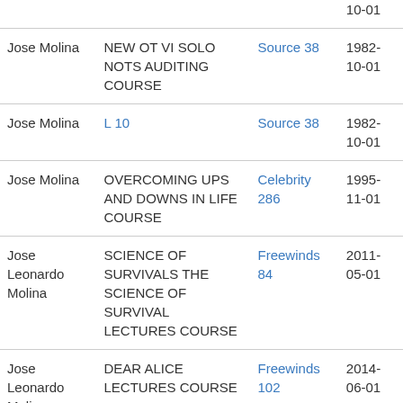| Name | Course | Source | Date |
| --- | --- | --- | --- |
|  |  |  | 10-01 |
| Jose Molina | NEW OT VI SOLO NOTS AUDITING COURSE | Source 38 | 1982-10-01 |
| Jose Molina | L 10 | Source 38 | 1982-10-01 |
| Jose Molina | OVERCOMING UPS AND DOWNS IN LIFE COURSE | Celebrity 286 | 1995-11-01 |
| Jose Leonardo Molina | SCIENCE OF SURVIVALS THE SCIENCE OF SURVIVAL LECTURES COURSE | Freewinds 84 | 2011-05-01 |
| Jose Leonardo Molina | DEAR ALICE LECTURES COURSE | Freewinds 102 | 2014-06-01 |
| Jose Leonardo Molina | SUCCESS CONGRESS COURSE | Freewinds 102 | 2014-06-01 |
| Jose Miguel Ortega | OBJECTIVES | Auditor 53 1 | 2017-05-01 |